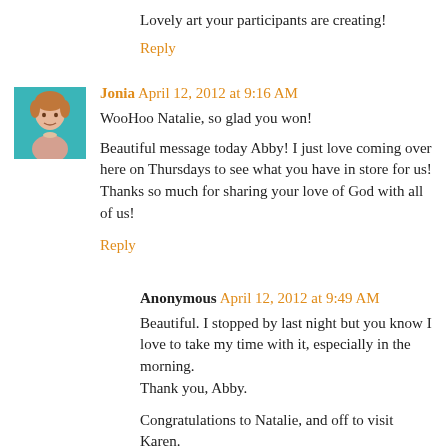Lovely art your participants are creating!
Reply
Jonia April 12, 2012 at 9:16 AM
WooHoo Natalie, so glad you won!
Beautiful message today Abby! I just love coming over here on Thursdays to see what you have in store for us! Thanks so much for sharing your love of God with all of us!
Reply
Anonymous April 12, 2012 at 9:49 AM
Beautiful. I stopped by last night but you know I love to take my time with it, especially in the morning.
Thank you, Abby.
Congratulations to Natalie, and off to visit Karen.
Hugs!